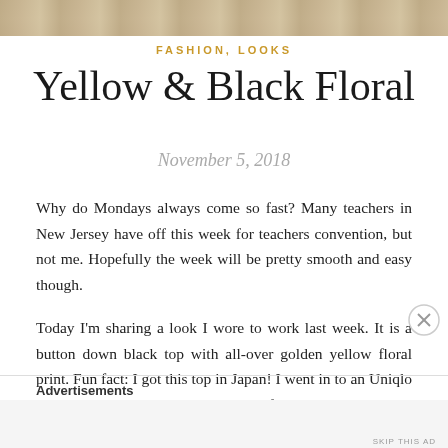[Figure (photo): Partial photo strip at top of page showing stone/paved surface texture]
FASHION, LOOKS
Yellow & Black Floral
November 5, 2018
Why do Mondays always come so fast? Many teachers in New Jersey have off this week for teachers convention, but not me. Hopefully the week will be pretty smooth and easy though.
Today I'm sharing a look I wore to work last week. It is a button down black top with all-over golden yellow floral print. Fun fact: I got this top in Japan! I went in to an Uniqlo there since the company is originally from Japan. I spotted
Advertisements